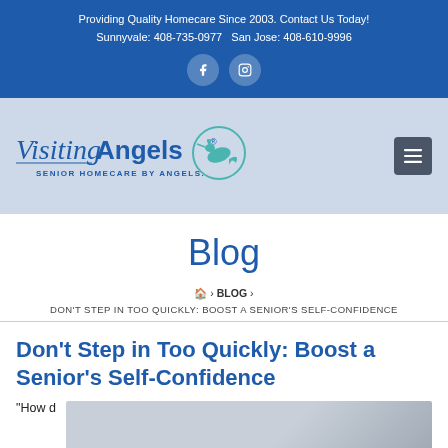Providing Quality Homecare Since 2003. Contact Us Today! Sunnyvale: 408-735-0977 San Jose: 408-610-9996
[Figure (logo): Visiting Angels logo - Senior Homecare by Angels, with a teal hummingbird inside a circle]
Blog
DON'T STEP IN TOO QUICKLY: BOOST A SENIOR'S SELF-CONFIDENCE
Don't Step in Too Quickly: Boost a Senior's Self-Confidence
“How d